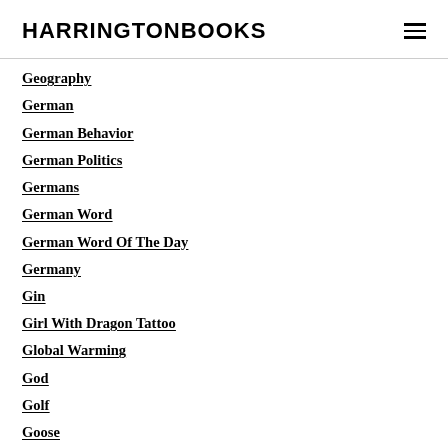HARRINGTONBOOKS
Geography
German
German Behavior
German Politics
Germans
German Word
German Word Of The Day
Germany
Gin
Girl With Dragon Tattoo
Global Warming
God
Golf
Goose
Gossip
Government
Government Fear